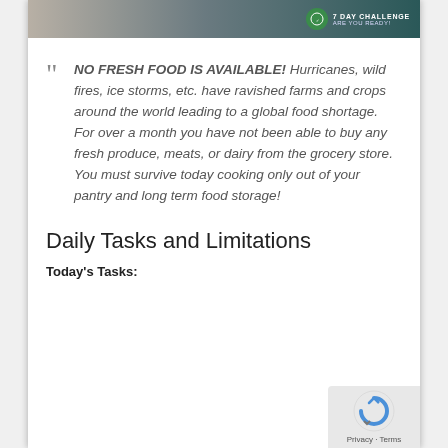[Figure (photo): Banner image with landscape/nature background and a green circular badge with text '7 DAY CHALLENGE ARE YOU READY!']
“ NO FRESH FOOD IS AVAILABLE! Hurricanes, wild fires, ice storms, etc. have ravished farms and crops around the world leading to a global food shortage. For over a month you have not been able to buy any fresh produce, meats, or dairy from the grocery store. You must survive today cooking only out of your pantry and long term food storage!
Daily Tasks and Limitations
Today’s Tasks: